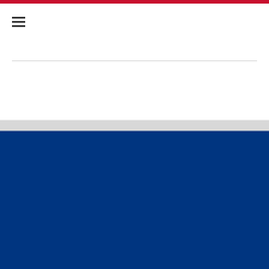U.S. Embassy in Thailand navigation header
U.S. EMBASSY IN THAILAND
Visas
U.S. Citizen Services
Our Relationship
Business
Education & Culture
Embassy & Consulate
News & Events
Privacy